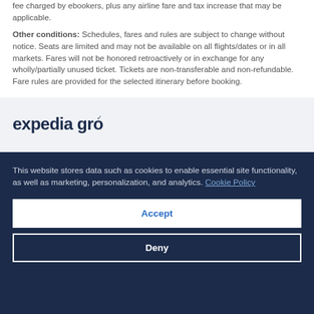fee charged by ebookers, plus any airline fare and tax increase that may be applicable.
Other conditions: Schedules, fares and rules are subject to change without notice. Seats are limited and may not be available on all flights/dates or in all markets. Fares will not be honored retroactively or in exchange for any wholly/partially unused ticket. Tickets are non-transferable and non-refundable. Fare rules are provided for the selected itinerary before booking.
[Figure (logo): Expedia Group logo in dark navy text]
This website stores data such as cookies to enable essential site functionality, as well as marketing, personalization, and analytics. Cookie Policy
Accept
Deny